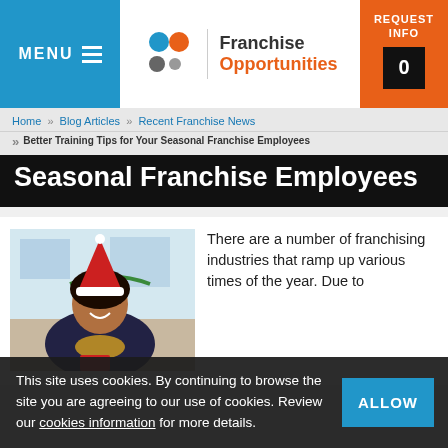MENU | Franchise Opportunities | REQUEST INFO 0
Home » Blog Articles » Recent Franchise News
» Better Training Tips for Your Seasonal Franchise Employees
Seasonal Franchise Employees
[Figure (photo): Woman wearing a Santa hat holding a Christmas gift, smiling in a festively decorated office]
There are a number of franchising industries that ramp up various times of the year. Due to
This site uses cookies. By continuing to browse the site you are agreeing to our use of cookies. Review our cookies information for more details.